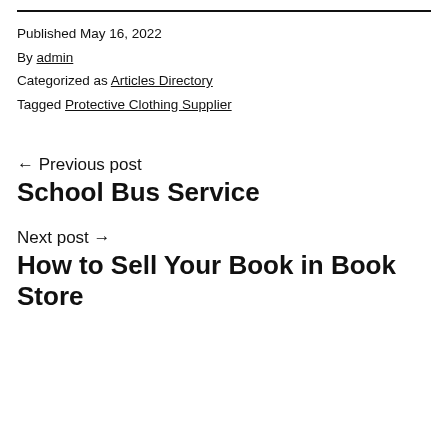Published May 16, 2022
By admin
Categorized as Articles Directory
Tagged Protective Clothing Supplier
← Previous post
School Bus Service
Next post →
How to Sell Your Book in Book Store